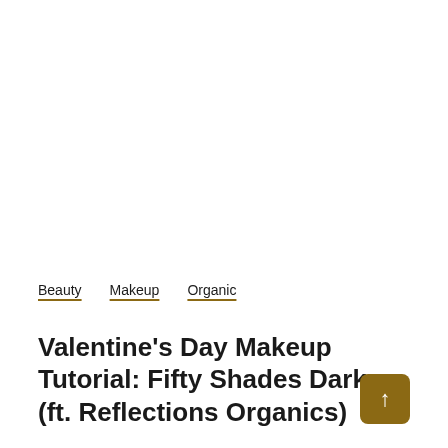Beauty  Makeup  Organic
Valentine's Day Makeup Tutorial: Fifty Shades Darker (ft. Reflections Organics)